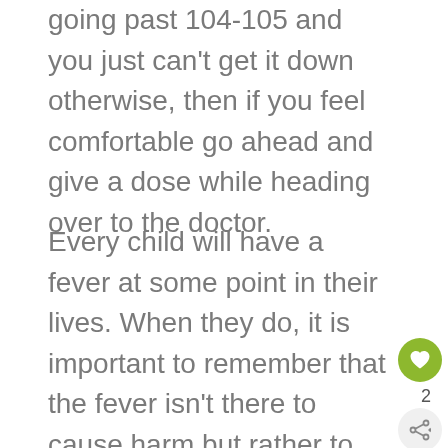going past 104-105 and you just can't get it down otherwise, then if you feel comfortable go ahead and give a dose while heading over to the doctor.
Every child will have a fever at some point in their lives. When they do, it is important to remember that the fever isn't there to cause harm but rather to help your child recover from their illness quicker.